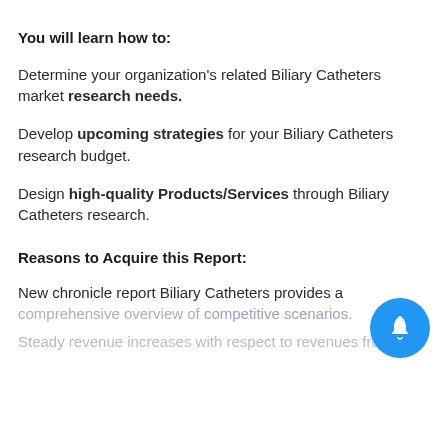You will learn how to:
Determine your organization's related Biliary Catheters market research needs.
Develop upcoming strategies for your Biliary Catheters research budget.
Design high-quality Products/Services through Biliary Catheters research.
Reasons to Acquire this Report:
New chronicle report Biliary Catheters provides a comprehensive overview of competitive scenarios.
Steady revenue increases with respect to revenues from